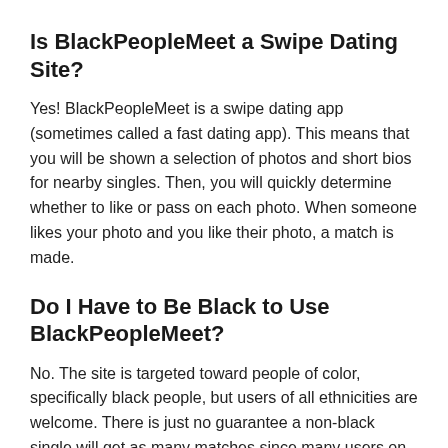Is BlackPeopleMeet a Swipe Dating Site?
Yes! BlackPeopleMeet is a swipe dating app (sometimes called a fast dating app). This means that you will be shown a selection of photos and short bios for nearby singles. Then, you will quickly determine whether to like or pass on each photo. When someone likes your photo and you like their photo, a match is made.
Do I Have to Be Black to Use BlackPeopleMeet?
No. The site is targeted toward people of color, specifically black people, but users of all ethnicities are welcome. There is just no guarantee a non-black single will get as many matches since many users on the site are looking for a back partner.